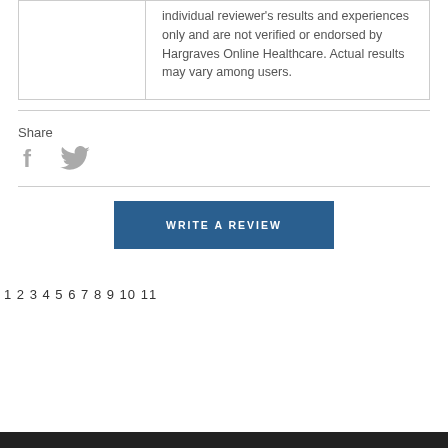|  |  |
| --- | --- |
|  | individual reviewer's results and experiences only and are not verified or endorsed by Hargraves Online Healthcare. Actual results may vary among users. |
Share
[Figure (other): Facebook and Twitter social share icons]
WRITE A REVIEW
1 2 3 4 5 6 7 8 9 10 11